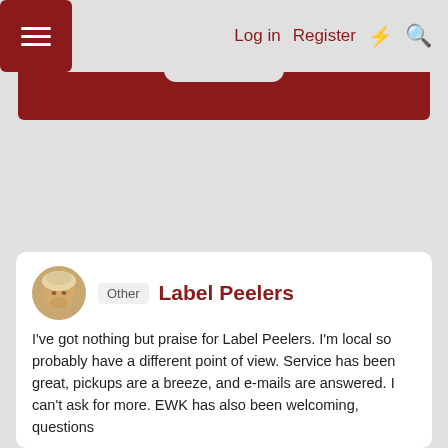Log in  Register
[Figure (screenshot): Dark red navigation bar with hamburger menu icon on left and a rounded tab cutout in center]
Other  Label Peelers
I've got nothing but praise for Label Peelers. I'm local so probably have a different point of view. Service has been great, pickups are a breeze, and e-mails are answered. I can't ask for more. EWK has also been welcoming, questions